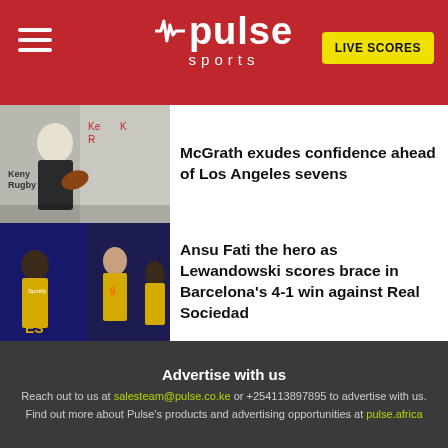Pulse Sports — LIVE SCORES
McGrath exudes confidence ahead of Los Angeles sevens
Ansu Fati the hero as Lewandowski scores brace in Barcelona's 4-1 win against Real Sociedad
Advertise with us
Reach out to us at salesteam@pulse.co.ke or +254113897895 to advertise with us. Find out more about Pulse's products and advertising opportunities at pulse.africa